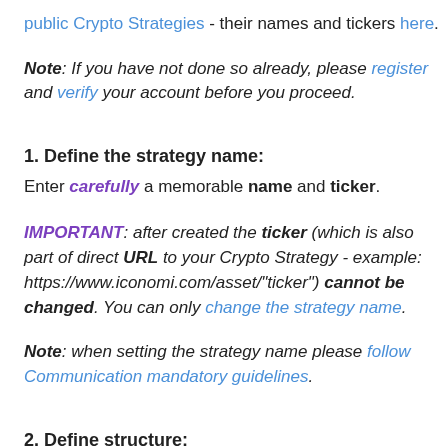public Crypto Strategies - their names and tickers here.
Note: If you have not done so already, please register and verify your account before you proceed.
1. Define the strategy name:
Enter carefully a memorable name and ticker.
IMPORTANT: after created the ticker (which is also part of direct URL to your Crypto Strategy - example: https://www.iconomi.com/asset/"ticker") cannot be changed. You can only change the strategy name.
Note: when setting the strategy name please follow Communication mandatory guidelines.
2. Define structure:
Select cryptocurrencies you want to include in your Crypto